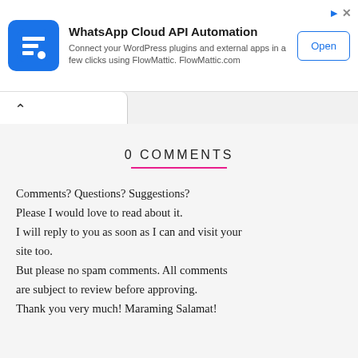[Figure (screenshot): Advertisement banner for WhatsApp Cloud API Automation by FlowMattic. Shows a blue app icon with a white grid/menu symbol, bold title text, description text, and an Open button with close/ad icons in the top right.]
0 COMMENTS
Comments? Questions? Suggestions? Please I would love to read about it. I will reply to you as soon as I can and visit your site too. But please no spam comments. All comments are subject to review before approving. Thank you very much! Maraming Salamat!